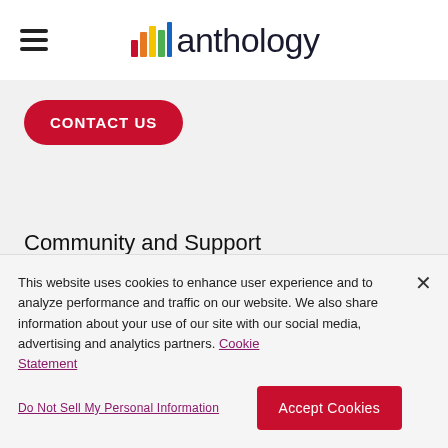[Figure (logo): Anthology logo with colorful bar chart icon and 'anthology' wordmark]
CONTACT US
Community and Support
[Figure (infographic): Social media icons: Facebook, Twitter, LinkedIn, Instagram — all in red]
This website uses cookies to enhance user experience and to analyze performance and traffic on our website. We also share information about your use of our site with our social media, advertising and analytics partners. Cookie Statement
Do Not Sell My Personal Information
Accept Cookies